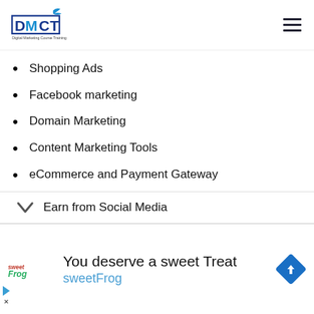DMCT Digital Marketing Course Training
Shopping Ads
Facebook marketing
Domain Marketing
Content Marketing Tools
eCommerce and Payment Gateway
Digital Media Laws
Marketing Data integration
Earn from Social Media
[Figure (advertisement): sweetFrog advertisement banner: 'You deserve a sweet Treat' with sweetFrog logo and directional sign icon]